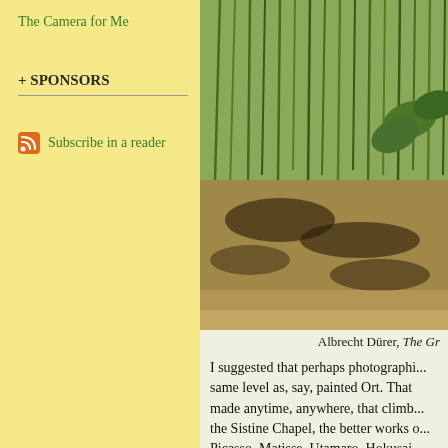The Camera for Me
+ SPONSORS
Subscribe in a reader
[Figure (photo): Painting by Albrecht Dürer showing grasses, reeds and water plants near a wetland stream]
Albrecht Dürer, The Gr...
I suggested that perhaps photographi... same level as, say, painted Ort. That ... made anytime, anywhere, that climb... the Sistine Chapel, the better works o... Picasso, Matisse, Utamaro, Hokusai,... hundreds of great painters, including...